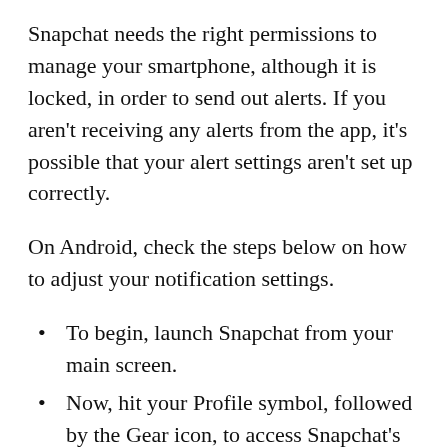Snapchat needs the right permissions to manage your smartphone, although it is locked, in order to send out alerts. If you aren't receiving any alerts from the app, it's possible that your alert settings aren't set up correctly.
On Android, check the steps below on how to adjust your notification settings.
To begin, launch Snapchat from your main screen.
Now, hit your Profile symbol, followed by the Gear icon, to access Snapchat's settings.